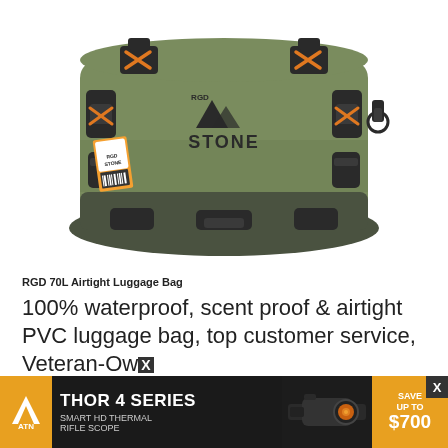[Figure (photo): RGD Stone brand olive/army green 70L airtight duffel bag with black buckle straps, orange accents, and a product tag hanging from the left strap. The bag is photographed from the front on a white background.]
RGD 70L Airtight Luggage Bag
100% waterproof, scent proof & airtight PVC luggage bag, top customer service, Veteran-Owned
[Figure (photo): ATN Thor 4 Series advertisement banner. Shows ATN logo on orange background, 'THOR 4 SERIES' in bold white text, 'SMART HD THERMAL RIFLE SCOPE' in smaller text on dark background, a photo of the thermal rifle scope, and 'SAVE UP TO $700' on orange background. Has an X close button.]